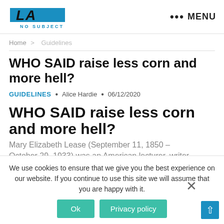LA NO SUBJECT — MENU
Home > Guidelines
WHO SAID raise less corn and more hell?
GUIDELINES • Alice Hardie • 06/12/2020
WHO SAID raise less corn and more hell?
Mary Elizabeth Lease (September 11, 1850 – October 29, 1933) was an American lecturer, writer, Georoist, and political activist
We use cookies to ensure that we give you the best experience on our website. If you continue to use this site we will assume that you are happy with it.